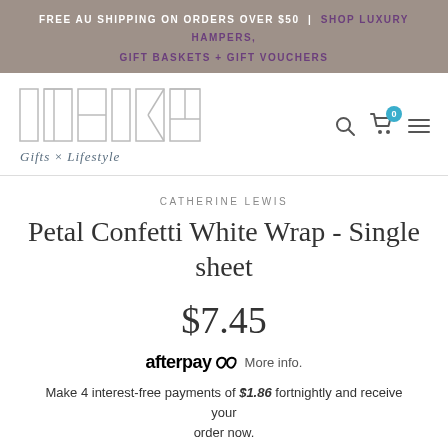FREE AU SHIPPING ON ORDERS OVER $50 | SHOP LUXURY HAMPERS, GIFT BASKETS + GIFT VOUCHERS
[Figure (logo): ITHIKA Gifts x Lifestyle logo with geometric letter outlines and teal cart icon with badge 0, search icon, and hamburger menu]
CATHERINE LEWIS
Petal Confetti White Wrap - Single sheet
$7.45
afterpay More info.
Make 4 interest-free payments of $1.86 fortnightly and receive your order now.